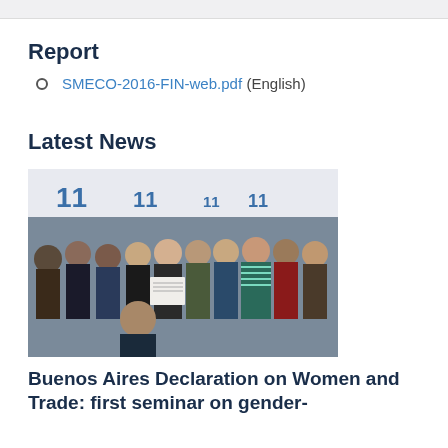Report
SMECO-2016-FIN-web.pdf (English)
Latest News
[Figure (photo): Group photo of officials and dignitaries holding a document at what appears to be an international trade conference, with '11' logos visible in the background.]
Buenos Aires Declaration on Women and Trade: first seminar on gender-